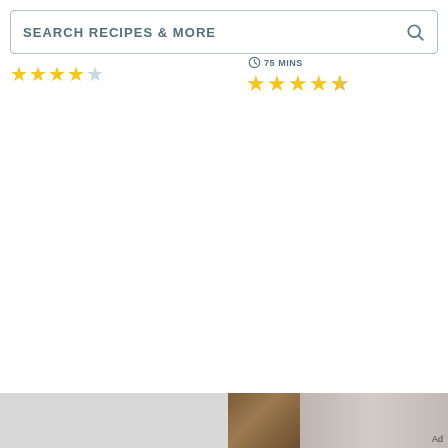SEARCH RECIPES & MORE
75 MINS
[Figure (other): Star rating left - 4 gold stars and 1 partial/empty star]
[Figure (other): Star rating right - 4.5 gold stars (4 full, 1 half)]
[Figure (photo): Bottom strip: grey placeholder, food photo, jar/liquid photo with Ad label]